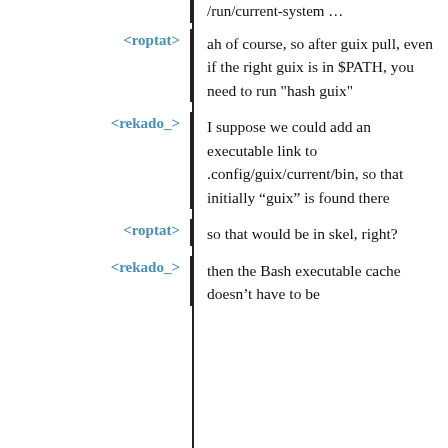/run/current-system …
<roptat>: ah of course, so after guix pull, even if the right guix is in $PATH, you need to run "hash guix"
<rekado_>: I suppose we could add an executable link to .config/guix/current/bin, so that initially “guix” is found there
<roptat>: so that would be in skel, right?
<rekado_>: then the Bash executable cache doesn’t have to be